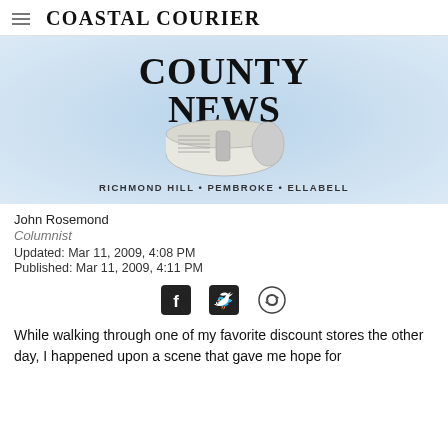Coastal Courier
[Figure (illustration): Bryan County News banner with rolled newspaper illustration. Text reads: COUNTY NEWS, RICHMOND HILL • PEMBROKE • ELLABELL. Blue gradient background.]
John Rosemond
Columnist
Updated: Mar 11, 2009, 4:08 PM
Published: Mar 11, 2009, 4:11 PM
[Figure (other): Social sharing icons: Facebook, Twitter, and link/chain icon]
While walking through one of my favorite discount stores the other day, I happened upon a scene that gave me hope for